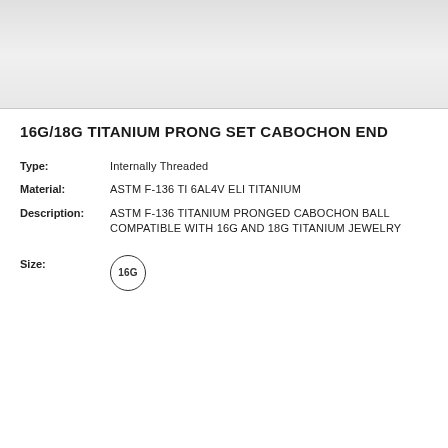[Figure (photo): Product photo showing titanium prong set cabochon end jewelry piece against white/light gray background]
16G/18G TITANIUM PRONG SET CABOCHON END
| Type: | Internally Threaded |
| Material: | ASTM F-136 TI 6AL4V ELI TITANIUM |
| Description: | ASTM F-136 TITANIUM PRONGED CABOCHON BALL COMPATIBLE WITH 16G AND 18G TITANIUM JEWELRY |
| Size: | 16G |